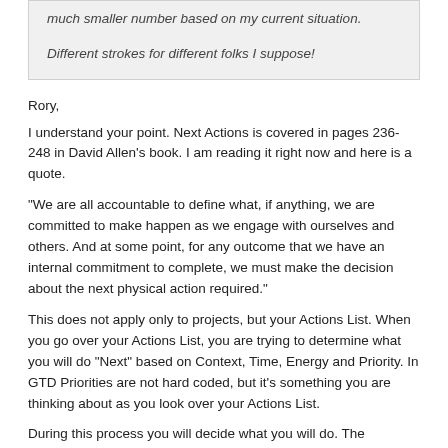much smaller number based on my current situation.

Different strokes for different folks I suppose!
Rory,
I understand your point. Next Actions is covered in pages 236-248 in David Allen's book. I am reading it right now and here is a quote.
"We are all accountable to define what, if anything, we are committed to make happen as we engage with ourselves and others. And at some point, for any outcome that we have an internal commitment to complete, we must make the decision about the next physical action required."
This does not apply only to projects, but your Actions List. When you go over your Actions List, you are trying to determine what you will do "Next" based on Context, Time, Energy and Priority. In GTD Priorities are not hard coded, but it's something you are thinking about as you look over your Actions List.
During this process you will decide what you will do. The